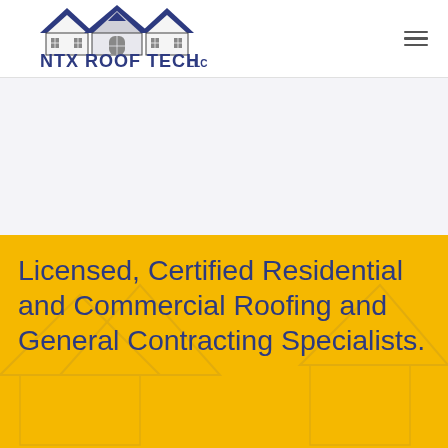[Figure (logo): NTX Roof Tech LLC logo — two house silhouettes with dark gray outlines and blue roof peaks, company name 'NTX ROOF TECH LLC' in bold dark navy/blue text below]
[Figure (photo): Hero image area — white/light background placeholder region]
Licensed, Certified Residential and Commercial Roofing and General Contracting Specialists.